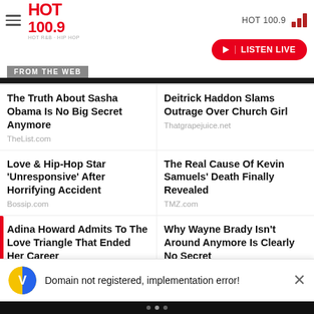HOT 100.9 — LISTEN LIVE
FROM THE WEB
The Truth About Sasha Obama Is No Big Secret Anymore
TheList.com
Deitrick Haddon Slams Outrage Over Church Girl
Thatgrapejuice.net
Love & Hip-Hop Star 'Unresponsive' After Horrifying Accident
Bossip.com
The Real Cause Of Kevin Samuels' Death Finally Revealed
TMZ.com
Adina Howard Admits To The Love Triangle That Ended Her Career
BET.com
Why Wayne Brady Isn't Around Anymore Is Clearly No Secret
NickiSwift.com
Domain not registered, implementation error!